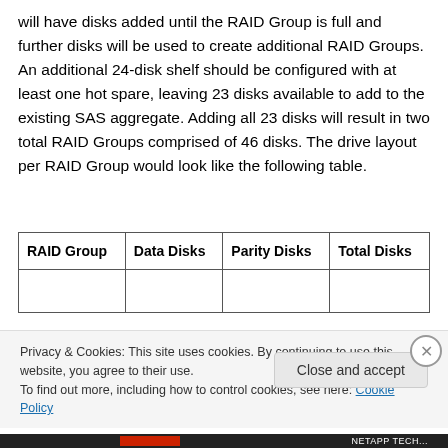will have disks added until the RAID Group is full and further disks will be used to create additional RAID Groups. An additional 24-disk shelf should be configured with at least one hot spare, leaving 23 disks available to add to the existing SAS aggregate. Adding all 23 disks will result in two total RAID Groups comprised of 46 disks. The drive layout per RAID Group would look like the following table.
| RAID Group | Data Disks | Parity Disks | Total Disks |
| --- | --- | --- | --- |
|  |  |  |  |
Privacy & Cookies: This site uses cookies. By continuing to use this website, you agree to their use.
To find out more, including how to control cookies, see here: Cookie Policy